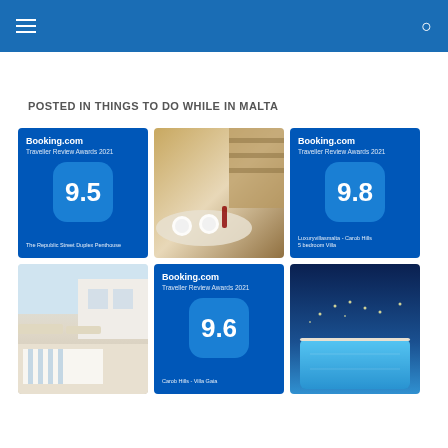Navigation header with menu icon and search icon
POSTED IN THINGS TO DO WHILE IN MALTA
[Figure (infographic): Booking.com Traveller Review Awards 2021 badge with score 9.5 for The Republic Street Duplex Penthouse]
[Figure (photo): Interior dining table with plates and wine glasses, staircase in background]
[Figure (infographic): Booking.com Traveller Review Awards 2021 badge with score 9.8 for Luxuryvillasmalta - Carob Hills 5 bedroom Villa]
[Figure (photo): Outdoor terrace with dining table, chairs, sun loungers, and white building]
[Figure (infographic): Booking.com Traveller Review Awards 2021 badge with score 9.6 for Carob Hills - Villa Gaia]
[Figure (photo): Outdoor pool illuminated at twilight with glowing blue water and hillside buildings]